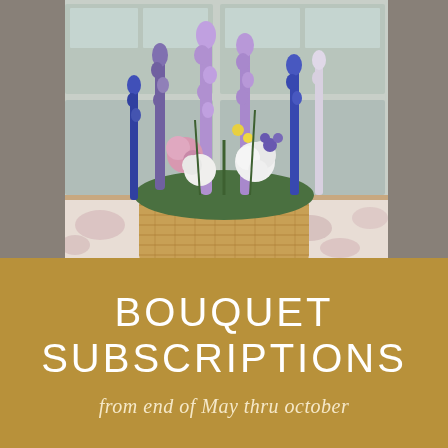[Figure (photo): A wicker basket filled with a large colorful wildflower bouquet featuring purple delphiniums, pink flowers, white hydrangeas, blue flowers, and yellow accents, sitting on a table covered with a pink floral toile tablecloth, with a white garage door in the background.]
BOUQUET SUBSCRIPTIONS
from end of May thru october